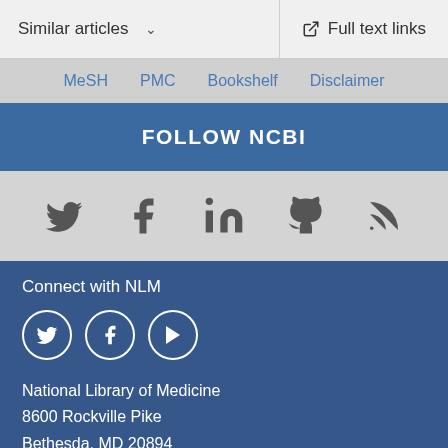Similar articles
Full text links
MeSH   PMC   Bookshelf   Disclaimer
FOLLOW NCBI
[Figure (infographic): Row of social media icons: Twitter, Facebook, LinkedIn, GitHub, RSS feed]
Connect with NLM
[Figure (infographic): Three circular social media icons: Twitter, Facebook, YouTube]
National Library of Medicine
8600 Rockville Pike
Bethesda, MD 20894
Web Policies